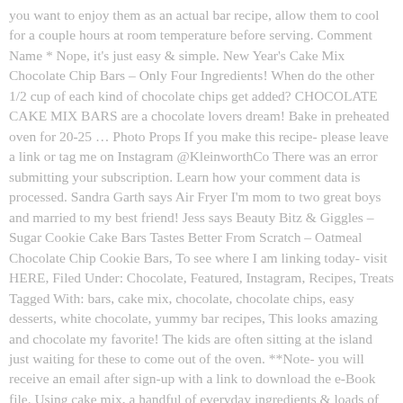you want to enjoy them as an actual bar recipe, allow them to cool for a couple hours at room temperature before serving. Comment Name * Nope, it's just easy & simple. New Year's Cake Mix Chocolate Chip Bars – Only Four Ingredients! When do the other 1/2 cup of each kind of chocolate chips get added? CHOCOLATE CAKE MIX BARS are a chocolate lovers dream! Bake in preheated oven for 20-25 … Photo Props If you make this recipe- please leave a link or tag me on Instagram @KleinworthCo There was an error submitting your subscription. Learn how your comment data is processed. Sandra Garth says Air Fryer I'm mom to two great boys and married to my best friend! Jess says Beauty Bitz & Giggles – Sugar Cookie Cake Bars Tastes Better From Scratch – Oatmeal Chocolate Chip Cookie Bars, To see where I am linking today- visit HERE, Filed Under: Chocolate, Featured, Instagram, Recipes, Treats Tagged With: bars, cake mix, chocolate, chocolate chips, easy desserts, white chocolate, yummy bar recipes, This looks amazing and chocolate my favorite! The kids are often sitting at the island just waiting for these to come out of the oven. **Note- you will receive an email after sign-up with a link to download the e-Book file. Using cake mix, a handful of everyday ingredients & loads of chocolate chips, this chocolate dessert is utterly amazing! To see where I am linking today- visit HERE Email * As a result, there is